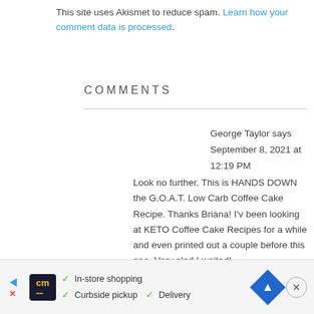This site uses Akismet to reduce spam. Learn how your comment data is processed.
COMMENTS
George Taylor says
September 8, 2021 at 12:19 PM
Look no further. This is HANDS DOWN the G.O.A.T. Low Carb Coffee Cake Recipe. Thanks Briana! I'v been looking at KETO Coffee Cake Recipes for a while and even printed out a couple before this one. Very glad I waited!
[Figure (infographic): Advertisement banner for curbside pickup and delivery service with cm logo]